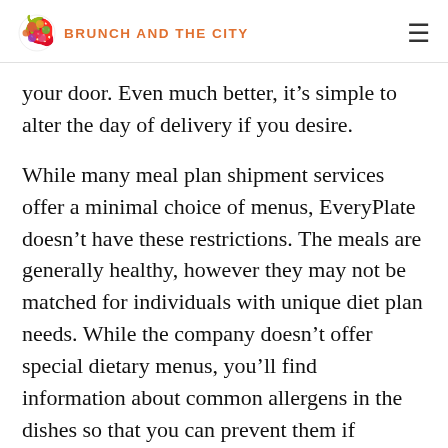BRUNCH AND THE CITY
your door. Even much better, it's simple to alter the day of delivery if you desire.
While many meal plan shipment services offer a minimal choice of menus, EveryPlate doesn't have these restrictions. The meals are generally healthy, however they may not be matched for individuals with unique diet plan needs. While the company doesn't offer special dietary menus, you'll find information about common allergens in the dishes so that you can prevent them if